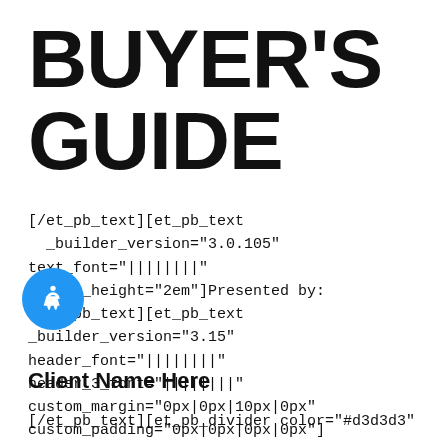BUYER'S GUIDE
[/et_pb_text][et_pb_text _builder_version="3.0.105" text_font="||||||||" line_height="2em"]Presented by: [/et_pb_text][et_pb_text _builder_version="3.15" header_font="||||||||" header_3_font="||||||||" custom_margin="0px|0px|10px|0px" custom_padding="0px|0px|0px|0px"]
Client Name Here
[/et_pb_text][et_pb_divider color="#d3d3d3"